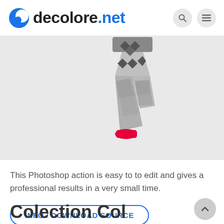decolore.net
[Figure (photo): Person jumping mid-air wearing black and white patterned leggings and bright pink/red sneakers against a light gray background. Only the lower body (from waist down) is visible.]
This Photoshop action is easy to to edit and gives a professional results in a very small time.
INFO / DOWNLOAD SOURCE
Colection Col...